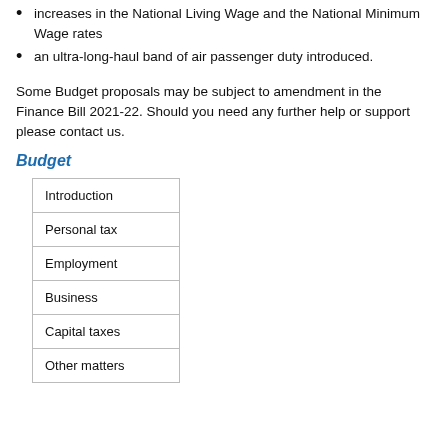increases in the National Living Wage and the National Minimum Wage rates
an ultra-long-haul band of air passenger duty introduced.
Some Budget proposals may be subject to amendment in the Finance Bill 2021-22. Should you need any further help or support please contact us.
Budget
| Introduction |
| Personal tax |
| Employment |
| Business |
| Capital taxes |
| Other matters |